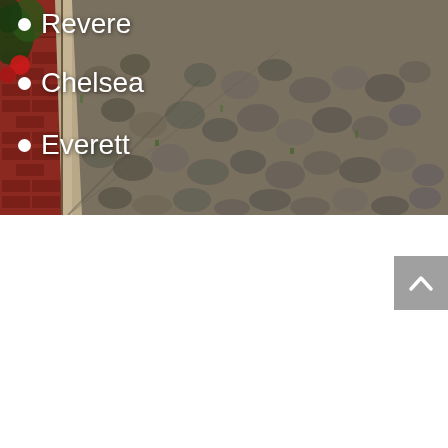[Figure (photo): Cobblestone street with brick sidewalk and granite curb on the left side, with greenery at the top left. White bullet-point list overlaid on the photo showing city names: Revere, Chelsea, Everett.]
Revere
Chelsea
Everett